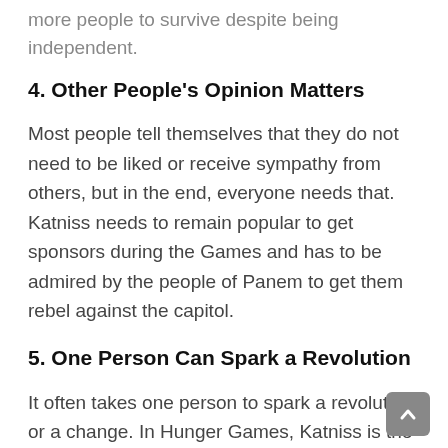more people to survive despite being independent.
4. Other People's Opinion Matters
Most people tell themselves that they do not need to be liked or receive sympathy from others, but in the end, everyone needs that. Katniss needs to remain popular to get sponsors during the Games and has to be admired by the people of Panem to get them rebel against the capitol.
5. One Person Can Spark a Revolution
It often takes one person to spark a revolution or a change. In Hunger Games, Katniss is the face of the insurgence and has begun an era of change thanks to her actions. It is because of Katniss' effort the